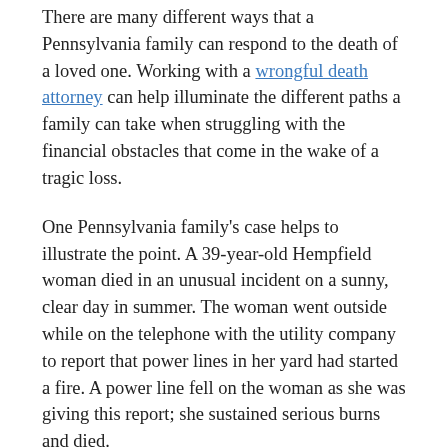There are many different ways that a Pennsylvania family can respond to the death of a loved one. Working with a wrongful death attorney can help illuminate the different paths a family can take when struggling with the financial obstacles that come in the wake of a tragic loss.
One Pennsylvania family's case helps to illustrate the point. A 39-year-old Hempfield woman died in an unusual incident on a sunny, clear day in summer. The woman went outside while on the telephone with the utility company to report that power lines in her yard had started a fire. A power line fell on the woman as she was giving this report; she sustained serious burns and died.
The family pursued a wrongful death action that resulted in a jury verdict of over $100 million. An